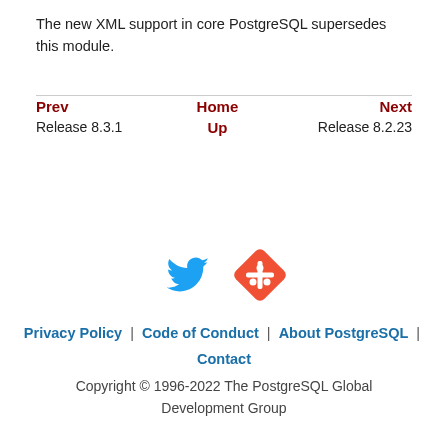The new XML support in core PostgreSQL supersedes this module.
| Prev | Home | Next |
| --- | --- | --- |
| Release 8.3.1 | Up | Release 8.2.23 |
[Figure (illustration): Twitter bird icon (blue) and Git logo icon (orange/red diamond shape)]
Privacy Policy | Code of Conduct | About PostgreSQL | Contact
Copyright © 1996-2022 The PostgreSQL Global Development Group